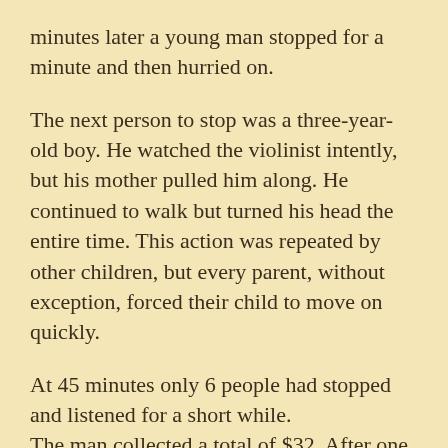minutes later a young man stopped for a minute and then hurried on.
The next person to stop was a three-year-old boy. He watched the violinist intently, but his mother pulled him along. He continued to walk but turned his head the entire time. This action was repeated by other children, but every parent, without exception, forced their child to move on quickly.
At 45 minutes only 6 people had stopped and listened for a short while. The man collected a total of $32. After one hour he finished playing and silence had taken over. No one noticed and no one applauded. There was no recognition at all. No one knew this, but the violinist was Joshua Bell, one of the greatest musicians in the world. He played one of the most intricate pieces ever written, with a violin worth $3.5